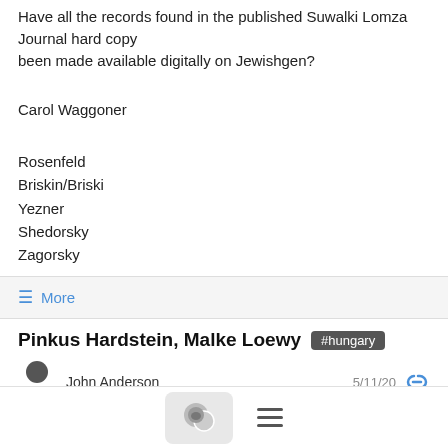Have all the records found in the published Suwalki Lomza Journal hard copy been made available digitally on Jewishgen?
Carol Waggoner
Rosenfeld
Briskin/Briski
Yezner
Shedorsky
Zagorsky
≡ More
Pinkus Hardstein, Malke Loewy #hungary
John Anderson  5/11/20
I'm having difficulty reconciling the date of birth of Pinkus